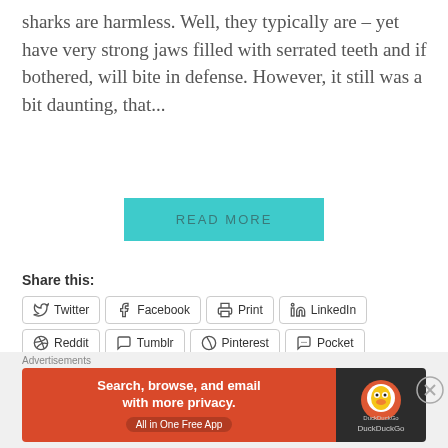sharks are harmless. Well, they typically are – yet have very strong jaws filled with serrated teeth and if bothered, will bite in defense. However, it still was a bit daunting, that...
READ MORE
Share this:
Twitter
Facebook
Print
LinkedIn
Reddit
Tumblr
Pinterest
Pocket
Telegram
WhatsApp
Skype
Email
Like this:
[Figure (screenshot): DuckDuckGo advertisement banner: orange left panel with text 'Search, browse, and email with more privacy. All in One Free App', dark right panel with DuckDuckGo logo]